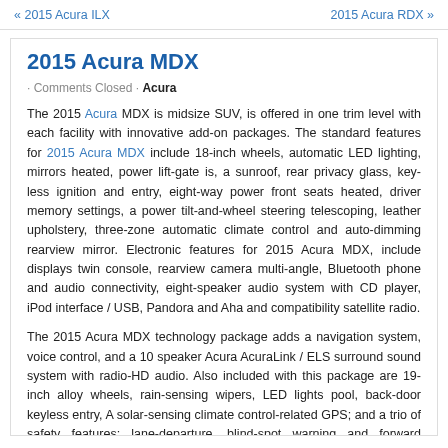« 2015 Acura ILX    2015 Acura RDX »
2015 Acura MDX
· Comments Closed · Acura
The 2015 Acura MDX is midsize SUV, is offered in one trim level with each facility with innovative add-on packages. The standard features for 2015 Acura MDX include 18-inch wheels, automatic LED lighting, mirrors heated, power lift-gate is, a sunroof, rear privacy glass, key-less ignition and entry, eight-way power front seats heated, driver memory settings, a power tilt-and-wheel steering telescoping, leather upholstery, three-zone automatic climate control and auto-dimming rearview mirror. Electronic features for 2015 Acura MDX, include displays twin console, rearview camera multi-angle, Bluetooth phone and audio connectivity, eight-speaker audio system with CD player, iPod interface / USB, Pandora and Aha and compatibility satellite radio.
The 2015 Acura MDX technology package adds a navigation system, voice control, and a 10 speaker Acura AcuraLink / ELS surround sound system with radio-HD audio. Also included with this package are 19-inch alloy wheels, rain-sensing wipers, LED lights pool, back-door keyless entry, A solar-sensing climate control-related GPS; and a trio of safety features: lane-departure, blind-spot warning and forward collision. The 2015 Acura MDX Technology and Entertainment package adds 110-volt power outlet, heated rear seats, rear